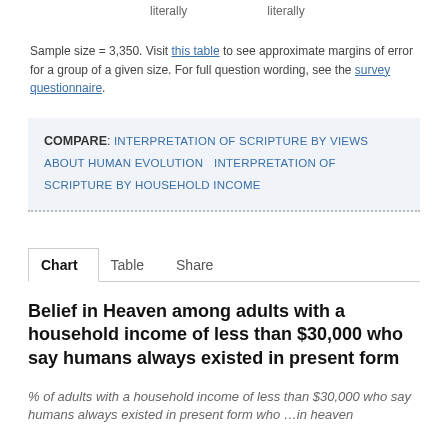literally    literally
Sample size = 3,350. Visit this table to see approximate margins of error for a group of a given size. For full question wording, see the survey questionnaire.
COMPARE: INTERPRETATION OF SCRIPTURE BY VIEWS ABOUT HUMAN EVOLUTION    INTERPRETATION OF SCRIPTURE BY HOUSEHOLD INCOME
Chart    Table    Share
Belief in Heaven among adults with a household income of less than $30,000 who say humans always existed in present form
% of adults with a household income of less than $30,000 who say humans always existed in present form who …in heaven